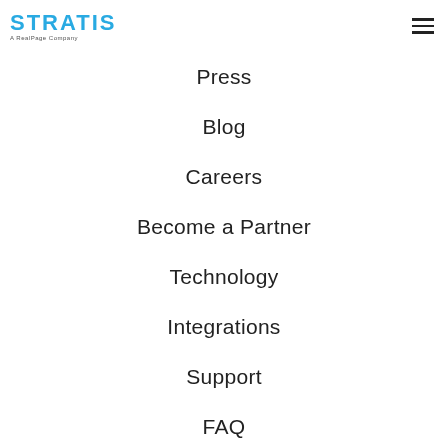[Figure (logo): STRATIS logo in blue with tagline 'A RealPage Company' below]
Press
Blog
Careers
Become a Partner
Technology
Integrations
Support
FAQ